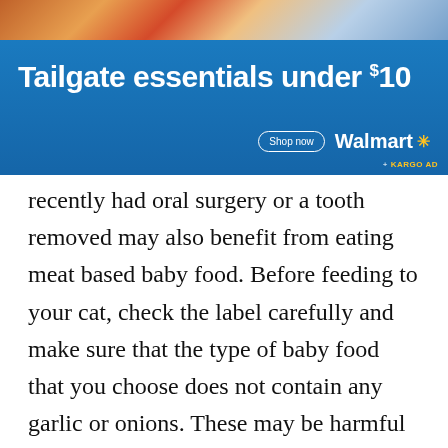[Figure (other): Walmart advertisement banner showing food items at top, blue background with text 'Tailgate essentials under $10', a 'Shop now' button, Walmart logo with spark, and '+ KARGO AD' label at bottom right.]
recently had oral surgery or a tooth removed may also benefit from eating meat based baby food. Before feeding to your cat, check the label carefully and make sure that the type of baby food that you choose does not contain any garlic or onions. These may be harmful to cats, causing anemia which over time can become dangerous or even fatal in some extreme cases. This should only be used